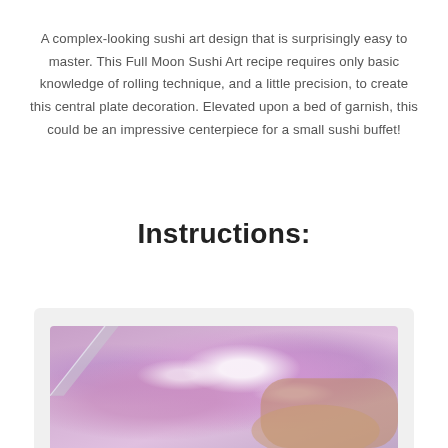A complex-looking sushi art design that is surprisingly easy to master. This Full Moon Sushi Art recipe requires only basic knowledge of rolling technique, and a little precision, to create this central plate decoration. Elevated upon a bed of garnish, this could be an impressive centerpiece for a small sushi buffet!
Instructions:
[Figure (photo): Close-up photo of hands and a knife working with purple/pink bokeh-blurred ingredients, likely sushi preparation with garnish.]